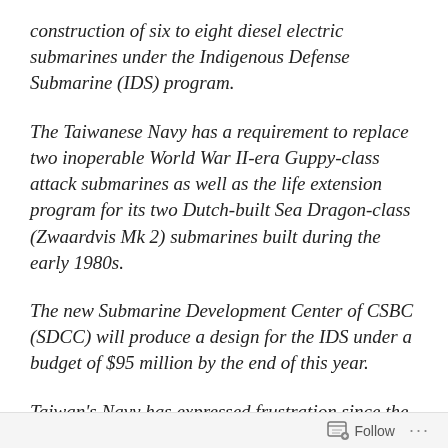construction of six to eight diesel electric submarines under the Indigenous Defense Submarine (IDS) program.
The Taiwanese Navy has a requirement to replace two inoperable World War II-era Guppy-class attack submarines as well as the life extension program for its two Dutch-built Sea Dragon-class (Zwaardvis Mk 2) submarines built during the early 1980s.
The new Submarine Development Center of CSBC (SDCC) will produce a design for the IDS under a budget of $95 million by the end of this year.
Taiwan's Navy has expressed frustration since the US agreed to assist Taiwan in the acquisition of eight diesel attack submarines in 2001, but was unable to fulfill the
Follow ···